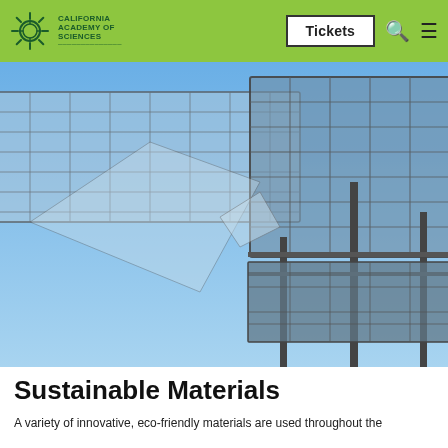California Academy of Sciences — Tickets
[Figure (photo): Close-up photograph of solar panels mounted on metal frame structures against a blue sky, viewed from below at an angle.]
Sustainable Materials
A variety of innovative, eco-friendly materials are used throughout the...